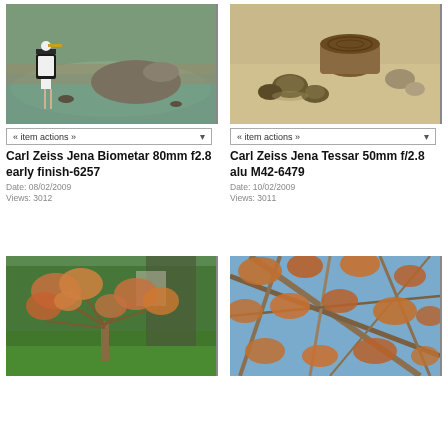[Figure (photo): Bird (stork) standing near water with a large animal (hippopotamus) in the background in a shallow pool]
« item actions »
Carl Zeiss Jena Biometar 80mm f2.8 early finish-6257
Date: 08/02/2009
Views: 3012
[Figure (photo): Small animals (possibly tortoises or hedgehogs) on sandy ground near a wooden stump]
« item actions »
Carl Zeiss Jena Tessar 50mm f/2.8 alu M42-6479
Date: 10/02/2009
Views: 3011
[Figure (photo): Japanese maple tree with reddish-orange foliage on a green lawn with tall trees in background]
[Figure (photo): Tree branches with rust-colored autumn leaves against a blue sky]